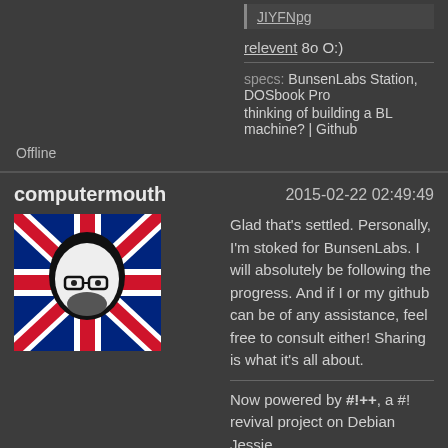JIYFNpg
relevent 8o O:)
specs: BunsenLabs Station, DOSbook Pro
thinking of building a BL machine? | Github
Offline
computermouth
2015-02-22 02:49:49
[Figure (photo): Avatar image of computermouth: stylized black and white illustration of a person wearing glasses on a UK flag background]
Glad that's settled. Personally, I'm stoked for BunsenLabs. I will absolutely be following the progress. And if I or my github can be of any assistance, feel free to consult either! Sharing is what it's all about.
Now powered by #!++, a #! revival project on Debian Jessie.
Offline